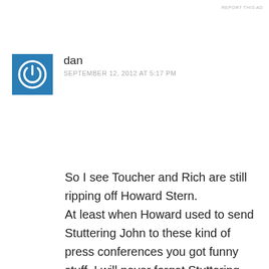REPORT THIS AD
dan
SEPTEMBER 12, 2012 AT 5:17 PM
So I see Toucher and Rich are still ripping off Howard Stern.
At least when Howard used to send Stuttering John to these kind of press conferences you got funny stuff. I will never forget Stuttering John asking Ted Williams if he ever farted in the catchers face!
I do find it funny how pompous,uptight and sensitive the beat writers are. Their